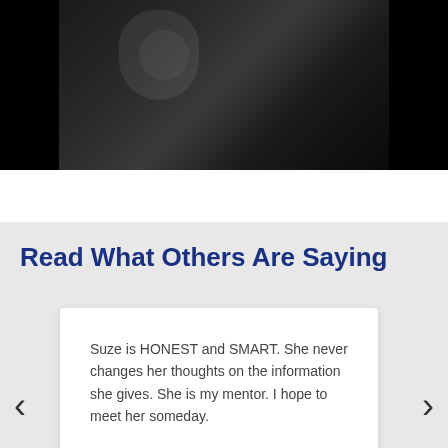[Figure (photo): Dark photograph showing a person, partially cropped at top]
Read What Others Are Saying
Suze is HONEST and SMART. She never changes her thoughts on the information she gives. She is my mentor. I hope to meet her someday.